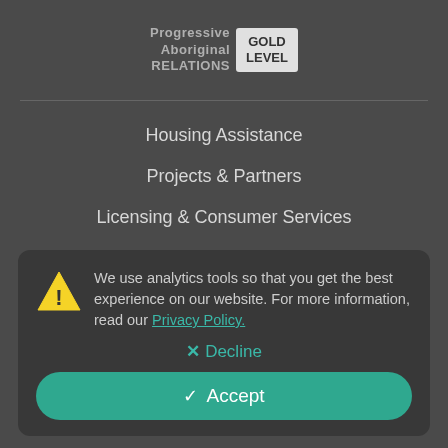[Figure (logo): Progressive Aboriginal Relations GOLD LEVEL badge/logo in top center area]
Housing Assistance
Projects & Partners
Licensing & Consumer Services
Research Centre
About
We use analytics tools so that you get the best experience on our website. For more information, read our Privacy Policy.
✕ Decline
✓ Accept